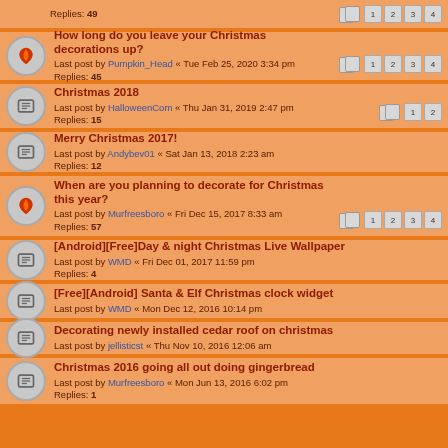Replies: 49 [pages 1 2 3 4]
How long do you leave your Christmas decorations up? Last post by Pumpkin_Head « Tue Feb 25, 2020 3:34 pm Replies: 45 [pages 1 2 3 4]
Christmas 2018 Last post by HalloweenCom « Thu Jan 31, 2019 2:47 pm Replies: 15 [pages 1 2]
Merry Christmas 2017! Last post by Andybev01 « Sat Jan 13, 2018 2:23 am Replies: 12
When are you planning to decorate for Christmas this year? Last post by Murfreesboro « Fri Dec 15, 2017 8:33 am Replies: 57 [pages 1 2 3 4]
[Android][Free]Day & night Christmas Live Wallpaper Last post by WMD « Fri Dec 01, 2017 11:59 pm Replies: 4
[Free][Android] Santa & Elf Christmas clock widget Last post by WMD « Mon Dec 12, 2016 10:14 pm
Decorating newly installed cedar roof on christmas Last post by jellisticst « Thu Nov 10, 2016 12:06 am
Christmas 2016 going all out doing gingerbread Last post by Murfreesboro « Mon Jun 13, 2016 6:02 pm Replies: 1